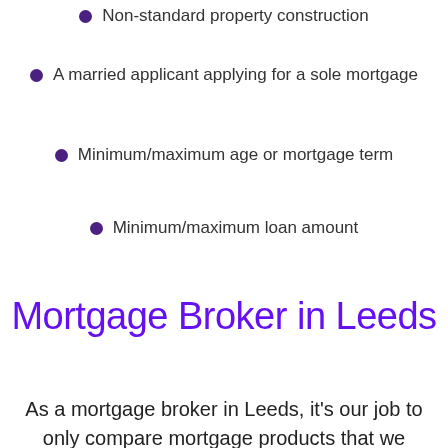Non-standard property construction
A married applicant applying for a sole mortgage
Minimum/maximum age or mortgage term
Minimum/maximum loan amount
Mortgage Broker in Leeds
As a mortgage broker in Leeds, it's our job to only compare mortgage products that we know you'll match. We will never recommend you a product
Welcome to our website, we use cookies to enhance your customer experience. To find out more read our cookie policy.